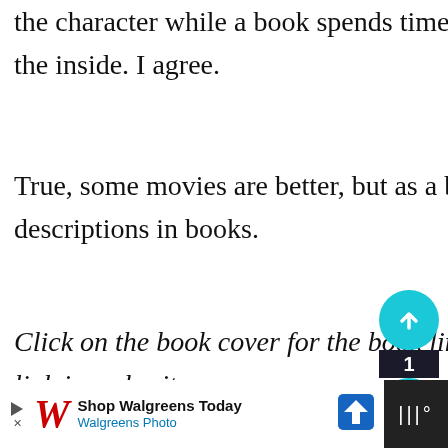the character while a book spends time describing what a character is on the inside. I agree.
True, some movies are better, but as a book lover overall I prefer the descriptions in books.
Click on the book cover for the book link and the corresponding movie link is under it.
[Figure (illustration): Book cover with decorative floral/snowflake pattern on teal background]
[Figure (infographic): Sidebar with teal circular up/down arrow icons and number 1 badge, plus a promo banner reading '10 Key Benefits of...']
[Figure (infographic): Advertisement bar at the bottom: Walgreens logo, 'Shop Walgreens Today / Walgreens Photo', navigation icon, and dark right panel with sound/menu icon]